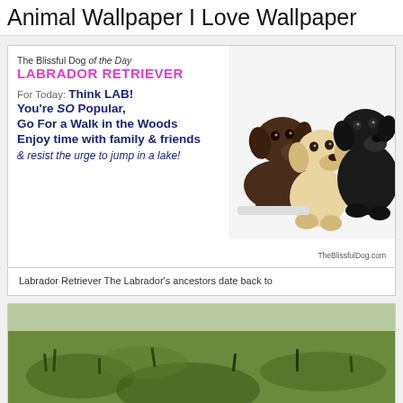Animal Wallpaper I Love Wallpaper
[Figure (illustration): Advertisement for The Blissful Dog featuring three Labrador Retriever puppies (chocolate, yellow, black) with text: 'The Blissful Dog of the Day LABRADOR RETRIEVER. For Today: Think LAB! You're SO Popular, Go For a Walk in the Woods, Enjoy time with family & friends, & resist the urge to jump in a lake! TheBlissfulDog.com']
Labrador Retriever The Labrador's ancestors date back to
[Figure (photo): Outdoor nature photo showing green grassy field/meadow with an animal partially visible at the bottom]